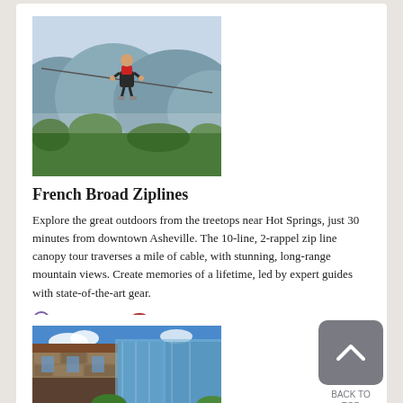[Figure (photo): Person zip-lining over green mountain valley with misty blue mountains in background near Hot Springs, NC]
French Broad Ziplines
Explore the great outdoors from the treetops near Hot Springs, just 30 minutes from downtown Asheville. The 10-line, 2-rappel zip line canopy tour traverses a mile of cable, with stunning, long-range mountain views. Create memories of a lifetime, led by expert guides with state-of-the-art gear.
Save to Trip   Go to their website.
[Figure (photo): Historic stone building exterior with signage, blue sky with clouds]
BACK TO TOP